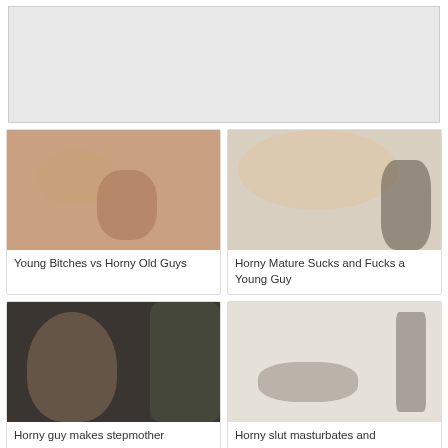[Figure (other): Gray banner/advertisement placeholder area at top of page]
[Figure (photo): Thumbnail image for video: Young Bitches vs Horny Old Guys]
Young Bitches vs Horny Old Guys
[Figure (photo): Thumbnail image for video: Horny Mature Sucks and Fucks a Young Guy]
Horny Mature Sucks and Fucks a Young Guy
[Figure (photo): Thumbnail image for video: Horny guy makes stepmother...]
Horny guy makes stepmother
[Figure (photo): Thumbnail image for video: Horny slut masturbates and...]
Horny slut masturbates and